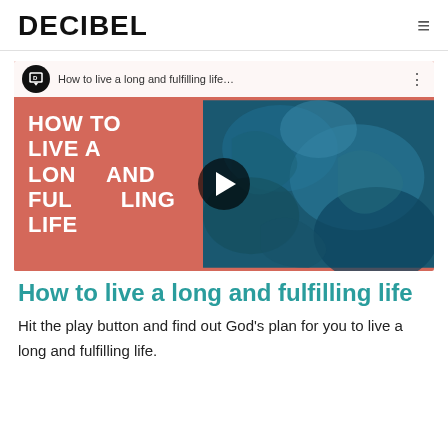DECIBEL
[Figure (screenshot): Video thumbnail showing 'How to live a long and fulfilling life' with a salmon/coral background on the left and blue ocean texture on the right, with a play button in the center. A top bar shows the Decibel logo and video title.]
How to live a long and fulfilling life
Hit the play button and find out God's plan for you to live a long and fulfilling life.